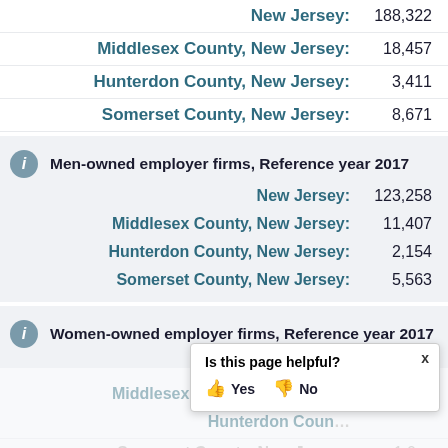New Jersey: 188,322
Middlesex County, New Jersey: 18,457
Hunterdon County, New Jersey: 3,411
Somerset County, New Jersey: 8,671
Men-owned employer firms, Reference year 2017
New Jersey: 123,258
Middlesex County, New Jersey: 11,407
Hunterdon County, New Jersey: 2,154
Somerset County, New Jersey: 5,563
Women-owned employer firms, Reference year 2017
New Jersey: 35,466
Middlesex County, New Jersey: 3,619
Hunterdon County, New Jersey: (value partially hidden)
Somerset County, New Jersey: (value partially hidden)